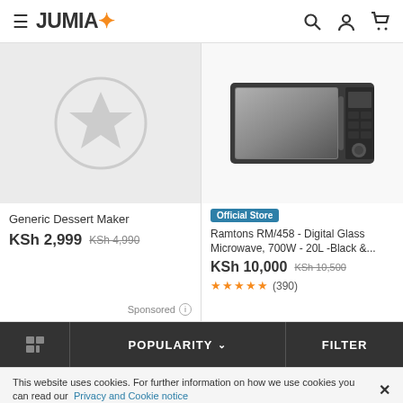JUMIA
[Figure (screenshot): Left product card: Generic Dessert Maker placeholder image with star icon on grey background]
Generic Dessert Maker
KSh 2,999 KSh 4,990
Sponsored
[Figure (photo): Right product card: Ramtons RM/458 Digital Glass Microwave, black, product photo]
Official Store
Ramtons RM/458 - Digital Glass Microwave, 700W - 20L -Black &...
KSh 10,000 KSh 10,500
★★★★★ (390)
POPULARITY  FILTER
This website uses cookies. For further information on how we use cookies you can read our Privacy and Cookie notice